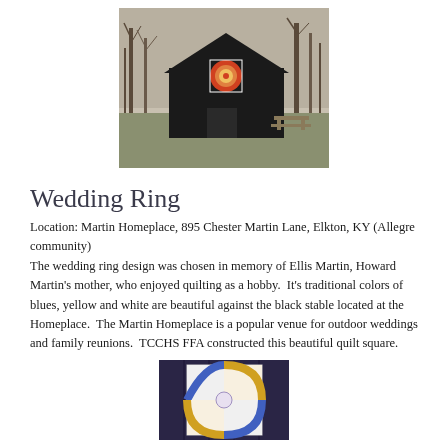[Figure (photo): A dark/black barn with a circular quilt square design (red/orange/white concentric circles) mounted on the front gable, surrounded by bare winter trees.]
Wedding Ring
Location: Martin Homeplace, 895 Chester Martin Lane, Elkton, KY (Allegre community)
The wedding ring design was chosen in memory of Ellis Martin, Howard Martin's mother, who enjoyed quilting as a hobby.  It's traditional colors of blues, yellow and white are beautiful against the black stable located at the Homeplace.  The Martin Homeplace is a popular venue for outdoor weddings and family reunions.  TCCHS FFA constructed this beautiful quilt square.
[Figure (photo): A close-up photo of the wedding ring quilt square pattern mounted on a dark purple/blue structure, showing colorful geometric quilt design with blues, yellows, and whites.]